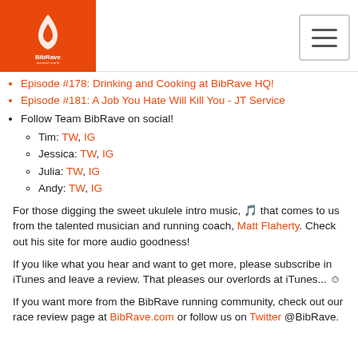BibRave Podcast logo and navigation
Episode #178: Drinking and Cooking at BibRave HQ!
Episode #181: A Job You Hate Will Kill You - JT Service
Follow Team BibRave on social! Tim: TW, IG | Jessica: TW, IG | Julia: TW, IG | Andy: TW, IG
For those digging the sweet ukulele intro music, 🎵 that comes to us from the talented musician and running coach, Matt Flaherty. Check out his site for more audio goodness!
If you like what you hear and want to get more, please subscribe in iTunes and leave a review. That pleases our overlords at iTunes... 😊
If you want more from the BibRave running community, check out our race review page at BibRave.com or follow us on Twitter @BibRave.